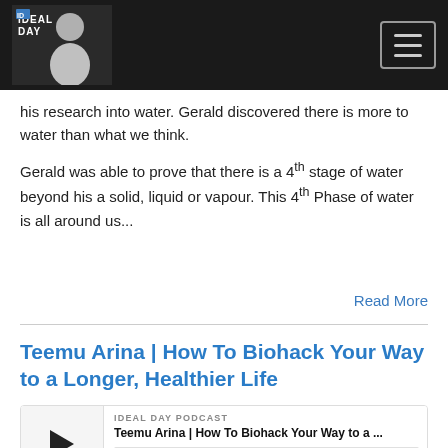[Figure (screenshot): Ideal Day Podcast website header with logo and hamburger menu]
his research into water. Gerald discovered there is more to water than what we think.
Gerald was able to prove that there is a 4th stage of water beyond his a solid, liquid or vapour. This 4th Phase of water is all around us...
Read More
Teemu Arina | How To Biohack Your Way to a Longer, Healthier Life
[Figure (screenshot): Ideal Day Podcast audio player for Teemu Arina episode with play button, progress bar, and controls showing 00:00:00]